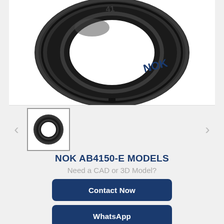[Figure (photo): Close-up photo of a NOK oil seal / rubber seal ring, black color, circular, shown from above. The NOK brand name is visible on the seal.]
[Figure (photo): Small thumbnail of the same NOK oil seal shown from a slightly different angle, inside a bordered thumbnail box.]
[Figure (logo): WhatsApp green circle logo icon with phone handset symbol, with text 'WhatsApp Online' below it.]
NOK AB4150-E MODELS
Need a CAD or 3D Model?
Contact Now
WhatsApp
Be Our Agent